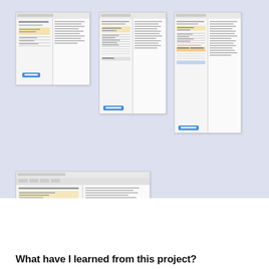[Figure (screenshot): Screenshot of a software interface/form with tables and a blue button, first thumbnail top-left]
[Figure (screenshot): Screenshot of a form/table interface with orange highlights and blue button, second thumbnail top-center]
[Figure (screenshot): Screenshot of a document with tables and orange/blue highlights, third thumbnail top-right]
[Figure (screenshot): Screenshot of a multi-panel software form with orange elements and colorful buttons at bottom, fourth thumbnail middle-left]
What have I learned from this project?